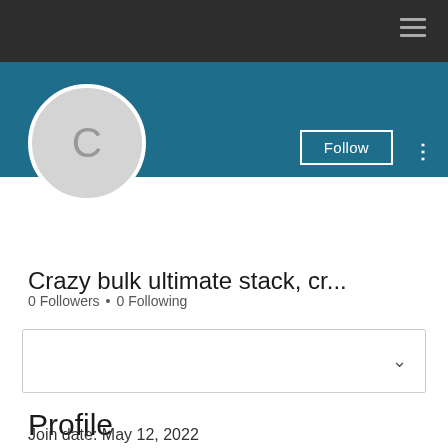Navigation bar
[Figure (screenshot): Blue banner profile header area with Follow button and three-dot menu]
Crazy bulk ultimate stack, cr...
0 Followers • 0 Following
[Dropdown box with chevron]
Profile
Join date: May 12, 2022
About